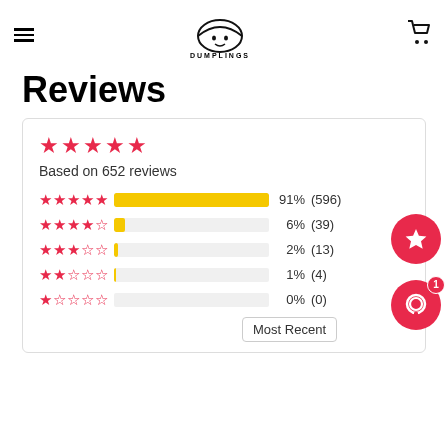Dumplings (logo)
Reviews
[Figure (bar-chart): Based on 652 reviews]